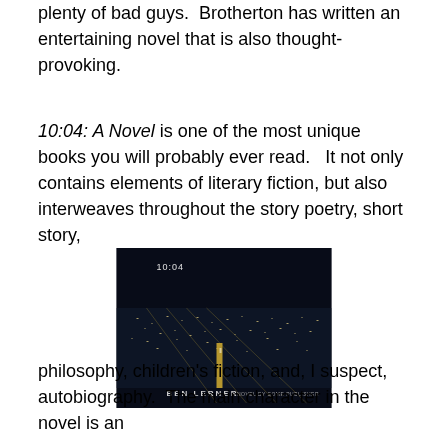plenty of bad guys.  Brotherton has written an entertaining novel that is also thought-provoking.
10:04: A Novel is one of the most unique books you will probably ever read.   It not only contains elements of literary fiction, but also interweaves throughout the story poetry, short story,
[Figure (photo): Book cover of '10:04' by Ben Lerner — a dark nighttime aerial cityscape with city lights, the title '10:04' in small text near the top, and the author name 'BEN LERNER' at the bottom.]
philosophy, children's fiction, and, I suspect, autobiography.  The main character in the novel is an